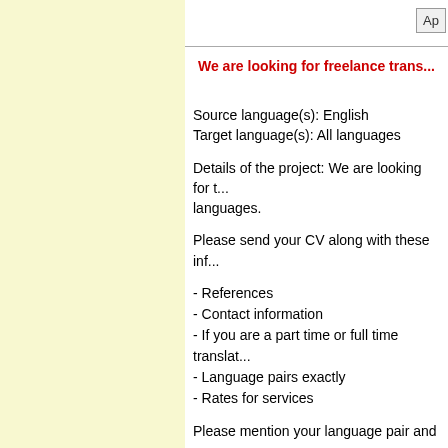Ap
We are looking for freelance trans...
Source language(s): English
Target language(s): All languages
Details of the project: We are looking for t... languages.
Please send your CV along with these inf...
- References
- Contact information
- If you are a part time or full time translat...
- Language pairs exactly
- Rates for services
Please mention your language pair and r...
Applications without these informations u...
No agencies please.
We will pay for this job 0.06 EUR per wor...
We accept by Eur...